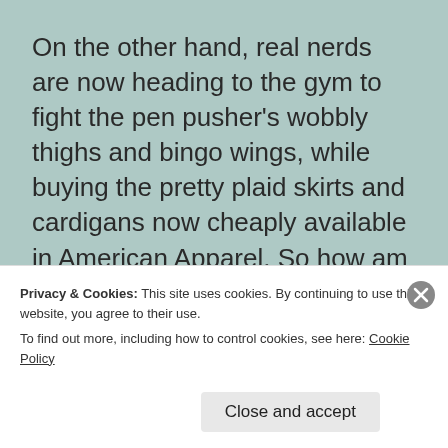On the other hand, real nerds are now heading to the gym to fight the pen pusher's wobbly thighs and bingo wings, while buying the pretty plaid skirts and cardigans now cheaply available in American Apparel. So how am I supposed to tell them apart?
Chances are you will never know if someone is a real nerd until you have seen them walking i… o…
Privacy & Cookies: This site uses cookies. By continuing to use this website, you agree to their use.
To find out more, including how to control cookies, see here: Cookie Policy
Close and accept